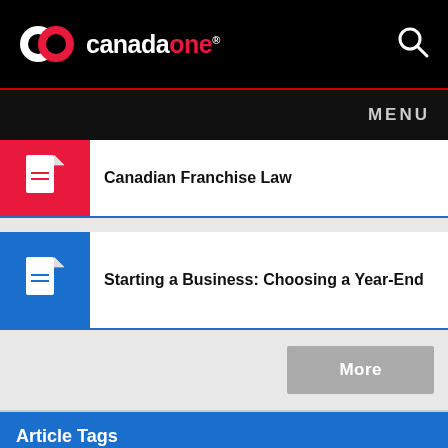canadaone
MENU
Canadian Franchise Law
Starting a Business: Choosing a Year-End
More
Article Tags